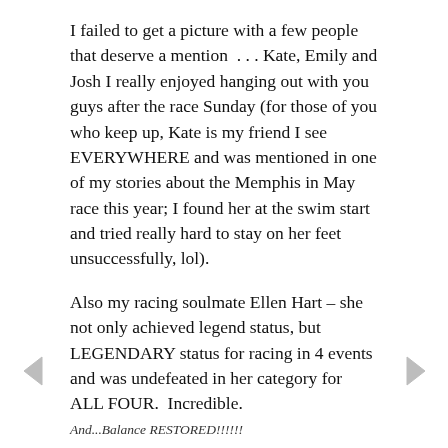I failed to get a picture with a few people that deserve a mention  . . .  Kate, Emily and Josh I really enjoyed hanging out with you guys after the race Sunday (for those of you who keep up, Kate is my friend I see EVERYWHERE and was mentioned in one of my stories about the Memphis in May race this year; I found her at the swim start and tried really hard to stay on her feet unsuccessfully, lol).
Also my racing soulmate Ellen Hart – she not only achieved legend status, but LEGENDARY status for racing in 4 events and was undefeated in her category for ALL FOUR.  Incredible.
And...Balance RESTORED!!!!!!